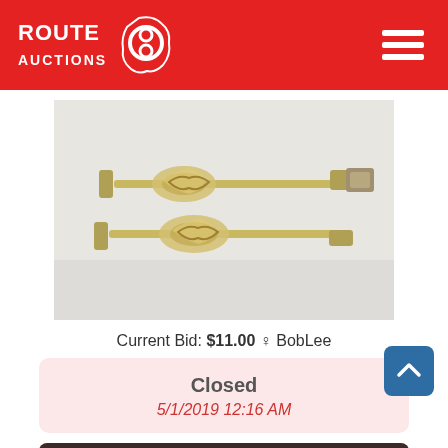ROUTE AUCTIONS
[Figure (photo): Photo of decorative brass/gold ornate curtain rod holders and rods laid flat on a white surface]
Current Bid: $11.00 ♀ BobLee
Closed
5/1/2019 12:16 AM
View